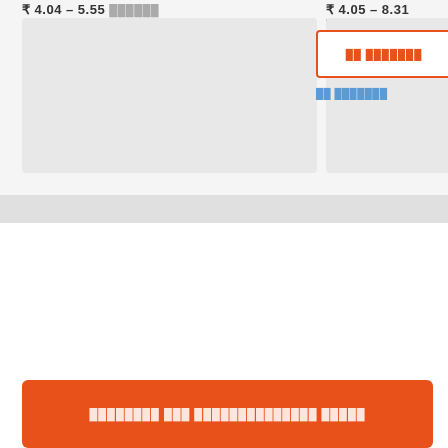₹ 4.04 – 5.55 ██████
[Figure (photo): Product image placeholder left top]
₹ 4.05 – 8.31 ██████
[Figure (photo): Product image placeholder right top]
██ █████████
██ █████████
█████████ ██████ ████████ █████ ██████████████
[Figure (photo): Product image placeholder left bottom]
[Figure (photo): Product image placeholder right bottom]
ask
█████████ ███ ██████████████ █████